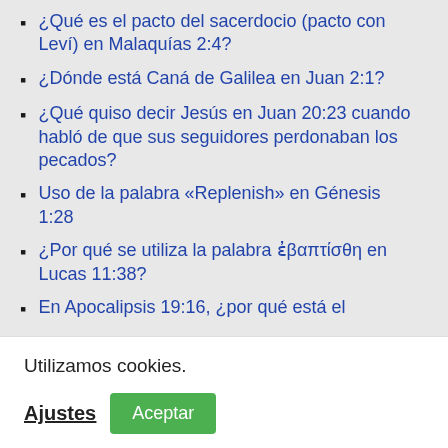¿Qué es el pacto del sacerdocio (pacto con Leví) en Malaquías 2:4?
¿Dónde está Caná de Galilea en Juan 2:1?
¿Qué quiso decir Jesús en Juan 20:23 cuando habló de que sus seguidores perdonaban los pecados?
Uso de la palabra «Replenish» en Génesis 1:28
¿Por qué se utiliza la palabra ἐβαπτίσθη en Lucas 11:38?
En Apocalipsis 19:16, ¿por qué está el
Utilizamos cookies.
Ajustes   Aceptar